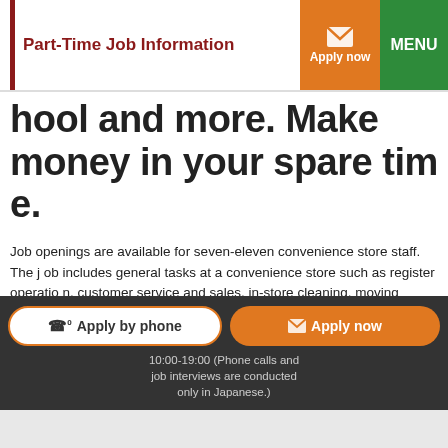Part-Time Job Information
hool and more. Make money in your spare time.
Job openings are available for seven-eleven convenience store staff. The job includes general tasks at a convenience store such as register operation, customer service and sales, in-store cleaning, moving goods from the stockroom and displaying them, ordering goods, etc. We also handle services such as utility fee payment, issuing of tickets and handover of Internet products. Please feel confident about applying since we will give you full support to learn the job even if you have no previous experience at a convenience store.
Apply by phone
Apply now
10:00-19:00 (Phone calls and job interviews are conducted only in Japanese.)